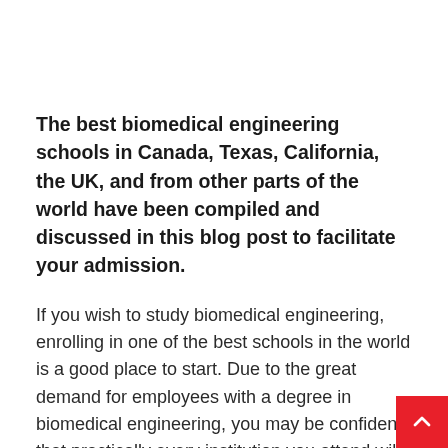The best biomedical engineering schools in Canada, Texas, California, the UK, and from other parts of the world have been compiled and discussed in this blog post to facilitate your admission.
If you wish to study biomedical engineering, enrolling in one of the best schools in the world is a good place to start. Due to the great demand for employees with a degree in biomedical engineering, you may be confident that practically every institution you attend will provide a good return on your investment.